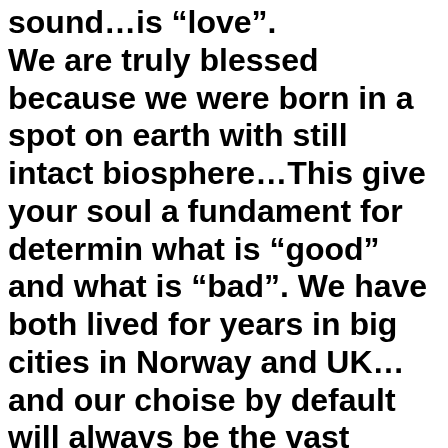sound...is “love”. We are truly blessed because we were born in a spot on earth with still intact biosphere...This give your soul a fundament for determin what is “good” and what is “bad”. We have both lived for years in big cities in Norway and UK... and our choise by default will always be the vast forest in eastern Norway, part of the Siberian Taiga...small lakes with water so pure you can